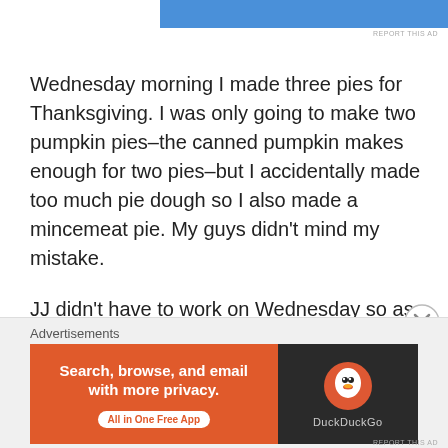[Figure (other): Blue advertisement banner at top of page]
REPORT THIS AD
Wednesday morning I made three pies for Thanksgiving. I was only going to make two pumpkin pies–the canned pumpkin makes enough for two pies–but I accidentally made too much pie dough so I also made a mincemeat pie. My guys didn't mind my mistake.

JJ didn't have to work on Wednesday so as soon as the pies were cooked and EJ left for work, we took a trip to Joann Fabrics in the Emerald City so I could buy some brown crochet thread for some of the items I am making. There were a lot of Thanksgiving sales at the store, but I am being careful with my money and only bought what I
Advertisements
[Figure (other): DuckDuckGo advertisement banner: orange left side with 'Search, browse, and email with more privacy. All in One Free App' and dark right side with DuckDuckGo logo and name]
REPORT THIS AD